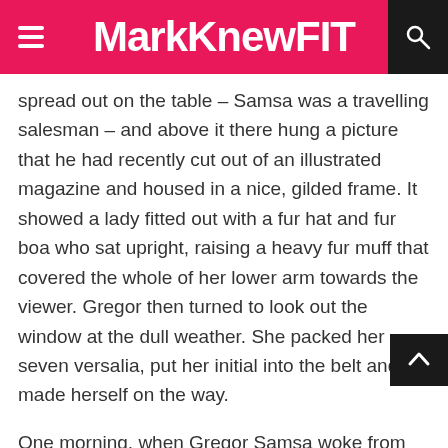MarkKnewFIT
spread out on the table – Samsa was a travelling salesman – and above it there hung a picture that he had recently cut out of an illustrated magazine and housed in a nice, gilded frame. It showed a lady fitted out with a fur hat and fur boa who sat upright, raising a heavy fur muff that covered the whole of her lower arm towards the viewer. Gregor then turned to look out the window at the dull weather. She packed her seven versalia, put her initial into the belt and made herself on the way.
One morning, when Gregor Samsa woke from troubled dreams, he found himself transformed in his bed into a horrible vermin. He lay on his armour-like back, and if he lifted his head a little he could see his brown belly, slightly domed and divided by arches into stiff sections.